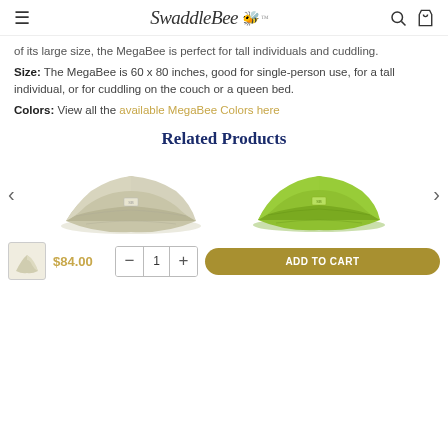SwaddleBee navigation header with hamburger menu, logo, search icon, and cart icon
of its large size, the MegaBee is perfect for tall individuals and cuddling.
Size: The MegaBee is 60 x 80 inches, good for single-person use, for a tall individual, or for cuddling on the couch or a queen bed.
Colors: View all the available MegaBee Colors here
Related Products
[Figure (photo): Beige/cream folded blanket product image]
[Figure (photo): Green folded blanket product image]
$84.00
ADD TO CART